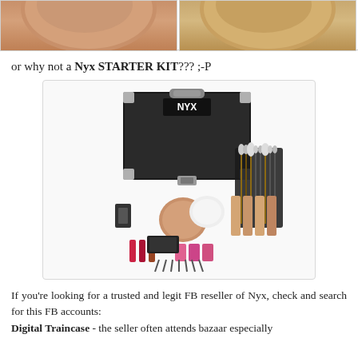[Figure (photo): Two product images cropped at top - left shows a warm brown/tan circular product (likely a bronzer or foundation compact), right shows a similar golden product]
or why not a Nyx STARTER KIT??? ;-P
[Figure (photo): NYX Starter Kit product photo showing a professional makeup train case (black with silver trim) surrounded by various makeup products including brushes, lipsticks, foundations, eyeshadows, and other cosmetics]
If you're looking for a trusted and legit FB reseller of Nyx, check and search for this FB accounts:
Digital Traincase - the seller often attends bazaar especially